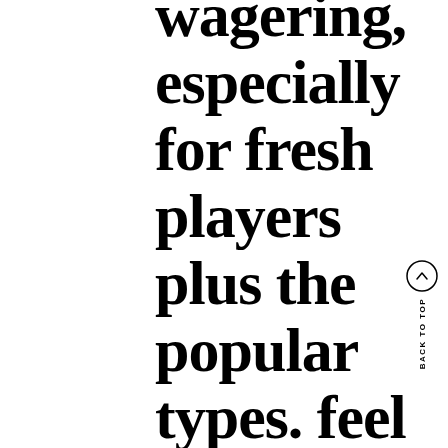wagering, especially for fresh players plus the popular types. feel at ease after they do not need
BACK TO TOP ↑